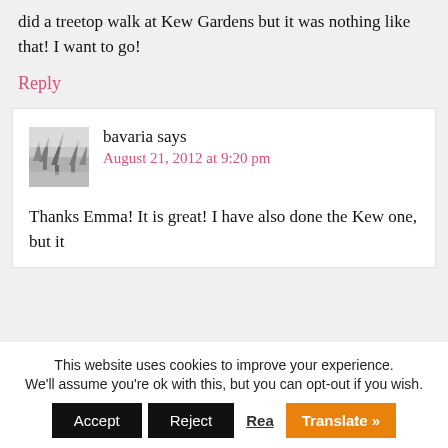did a treetop walk at Kew Gardens but it was nothing like that! I want to go!
Reply
bavaria says
August 21, 2012 at 9:20 pm
[Figure (photo): Avatar photo of a snowy forest/trees landscape, grayscale]
Thanks Emma! It is great! I have also done the Kew one, but it
This website uses cookies to improve your experience. We'll assume you're ok with this, but you can opt-out if you wish. Accept Reject Read More Translate »